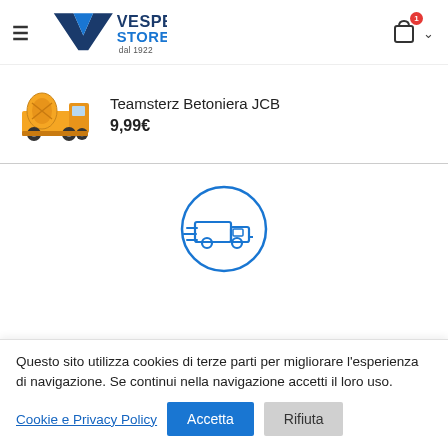Vespe Store dal 1922 — navigation header with hamburger menu and cart (1 item)
Teamsterz Betoniera JCB
9,99€
[Figure (illustration): Yellow JCB concrete mixer toy truck product image]
[Figure (illustration): Blue circle icon with a delivery van (speed lines) inside]
Questo sito utilizza cookies di terze parti per migliorare l'esperienza di navigazione. Se continui nella navigazione accetti il loro uso.
Cookie e Privacy Policy  Accetta  Rifiuta